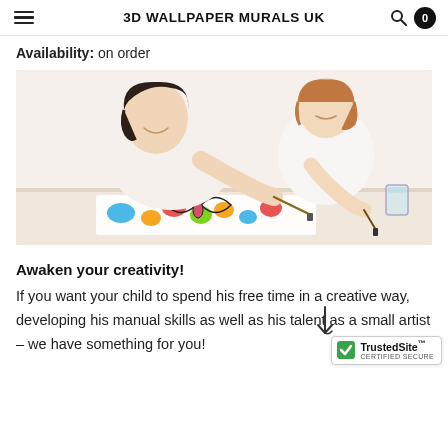3D WALLPAPER MURALS UK
Availability: on order
[Figure (photo): A mother and young child painting together at a table, using paintbrushes on colorful artwork. Both are wearing white and smiling, on a light background.]
Awaken your creativity!
If you want your child to spend his free time in a creative way, developing his manual skills as well as his talent as a small artist – we have something for you!